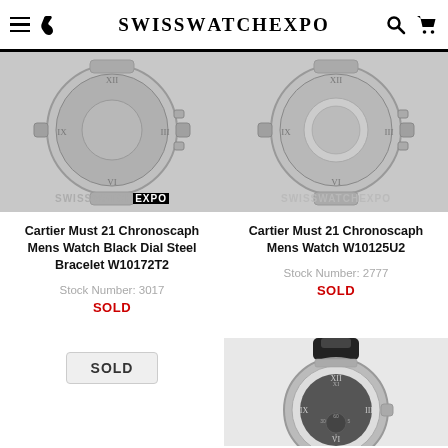SwissWatchExpo
[Figure (photo): Cartier Must 21 Chronoscaph watch back view, steel bracelet, with SwissWatchExpo watermark]
Cartier Must 21 Chronoscaph Mens Watch Black Dial Steel Bracelet W10172T2
Stock Number: 3017
SOLD
[Figure (photo): Cartier Must 21 Chronoscaph watch back view, steel bracelet, with SwissWatchExpo watermark]
Cartier Must 21 Chronoscaph Mens Watch W10125U2
Stock Number: 2777
SOLD
SOLD
[Figure (photo): Cartier Must 21 Chronoscaph watch front view with Roman numerals dial and rubber/steel bracelet]